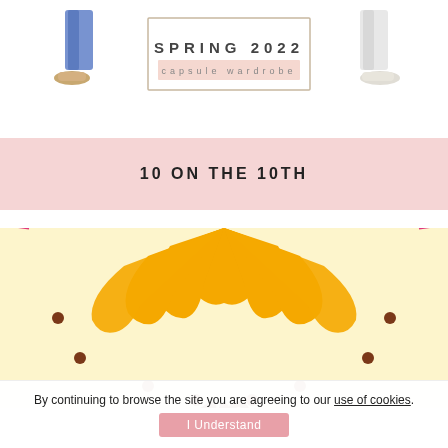[Figure (illustration): Spring 2022 capsule wardrobe image showing clothing items and shoes with a bordered box containing text 'SPRING 2022 capsule wardrobe']
10 ON THE 10TH
[Figure (illustration): Colorful mandala/sun illustration with yellow, pink/magenta, and purple segments on a cream/light yellow background, with decorative dots. The number '10' appears at the bottom in brown.]
By continuing to browse the site you are agreeing to our use of cookies.
I Understand